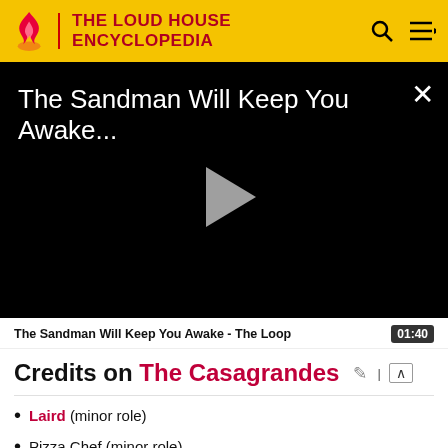THE LOUD HOUSE ENCYCLOPEDIA
[Figure (screenshot): Video player showing 'The Sandman Will Keep You Awake...' with play button on black background and close (X) button]
The Sandman Will Keep You Awake - The Loop  01:40
Credits on The Casagrandes
Laird (minor role)
Pizza Chef (minor role)